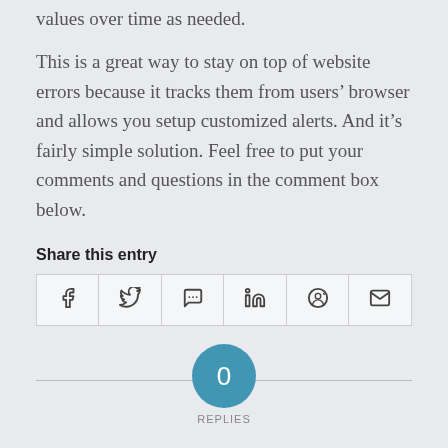values over time as needed.
This is a great way to stay on top of website errors because it tracks them from users’ browser and allows you setup customized alerts. And it’s fairly simple solution. Feel free to put your comments and questions in the comment box below.
Share this entry
[Figure (infographic): Social share buttons row with icons for Facebook, Twitter, WhatsApp, LinkedIn, Reddit, and email]
0 REPLIES